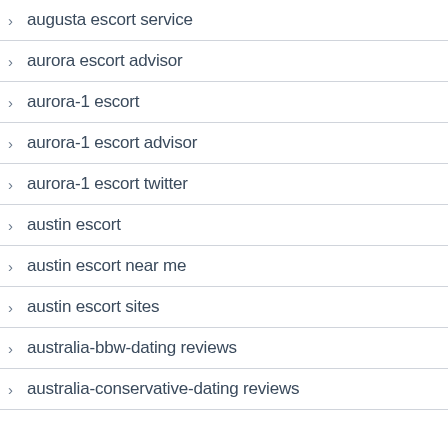augusta escort service
aurora escort advisor
aurora-1 escort
aurora-1 escort advisor
aurora-1 escort twitter
austin escort
austin escort near me
austin escort sites
australia-bbw-dating reviews
australia-conservative-dating reviews